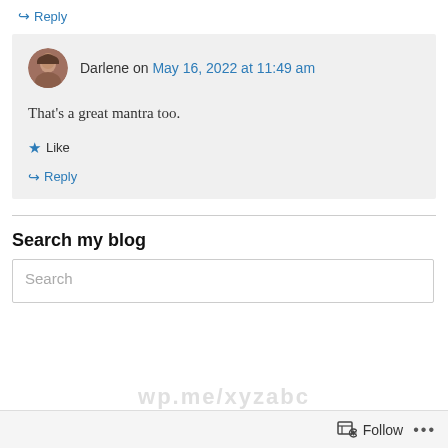↳ Reply
Darlene on May 16, 2022 at 11:49 am
That's a great mantra too.
★ Like
↳ Reply
Search my blog
Search
Follow ...